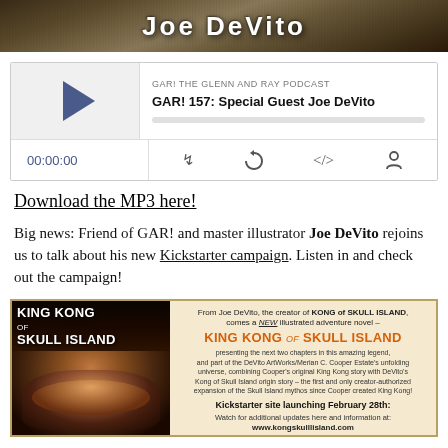[Figure (photo): Top banner image showing Joe DeVito text overlaid on a jungle-themed background]
[Figure (screenshot): Podcast player widget for GAR! The Glenn and Ray Podcast, episode GAR! 157: Special Guest Joe DeVito, showing play button, progress bar, time 00:00:00, and control icons]
Download the MP3 here!
Big news: Friend of GAR! and master illustrator Joe DeVito rejoins us to talk about his new Kickstarter campaign. Listen in and check out the campaign!
[Figure (illustration): King Kong of Skull Island advertisement banner showing book cover on left with gorilla illustration and promotional text on right announcing Kickstarter launching February 28th at www.kongskulllisland.com]